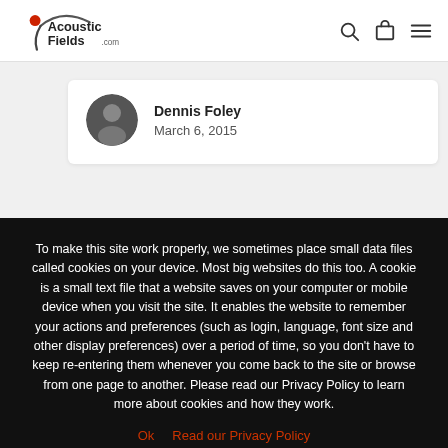[Figure (logo): Acoustic Fields .com logo with red dot accent and curved line]
[Figure (photo): Circular author avatar photo of a person]
Dennis Foley
March 6, 2015
To make this site work properly, we sometimes place small data files called cookies on your device. Most big websites do this too. A cookie is a small text file that a website saves on your computer or mobile device when you visit the site. It enables the website to remember your actions and preferences (such as login, language, font size and other display preferences) over a period of time, so you don't have to keep re-entering them whenever you come back to the site or browse from one page to another. Please read our Privacy Policy to learn more about cookies and how they work.
Ok   Read our Privacy Policy